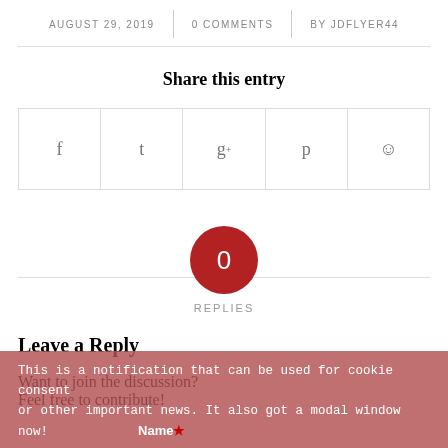AUGUST 29, 2019 | 0 COMMENTS | BY JDFLYER44
Share this entry
[Figure (other): Row of 5 social sharing icon buttons: Facebook (f), Twitter (bird), Google+ (g+), Pinterest (p), Reddit (alien)]
0 REPLIES
Leave a Reply
Want to join the discussion?
Feel free to contribute!
This is a notification that can be used for cookie consent or other important news. It also got a modal window now! Name*